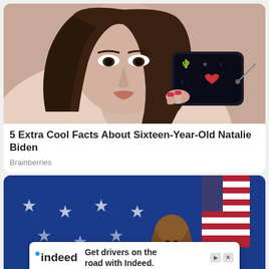[Figure (photo): Young woman taking a mirror selfie with a phone in a dark cactus-themed case, wearing a white top, long brown hair]
5 Extra Cool Facts About Sixteen-Year-Old Natalie Biden
Brainberries
[Figure (photo): Woman with brown hair smiling at a podium with American flag in background and blue star-patterned backdrop]
Get drivers on the road with Indeed.